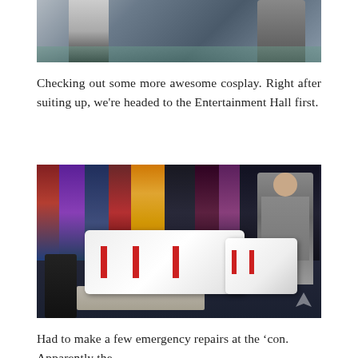[Figure (photo): Partial photo of cosplay scene, cropped at top — showing figures in costume against a blue/grey background]
Checking out some more awesome cosplay. Right after suiting up, we're headed to the Entertainment Hall first.
[Figure (photo): Photo inside a convention hall showing two people in white armor cosplay (with red accents) in front of a wall of colorful game character banners. One person stands facing right, another sits at a table. Black chair visible on left.]
Had to make a few emergency repairs at the 'con. Apparently the